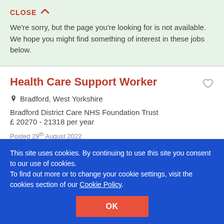CLOSE ∧
We're sorry, but the page you're looking for is not available. We hope you might find something of interest in these jobs below.
Health Care Support Worker
Bradford, West Yorkshire
Bradford District Care NHS Foundation Trust
£ 20270 - 21318 per year
Posted 29th August 2022
Senior Health Care Support Worker
This site uses cookies. By continuing to use this site you consent to our use of cookies.
To find out more or to change your cookie settings, visit the cookies section of our Cookie Policy.
OK